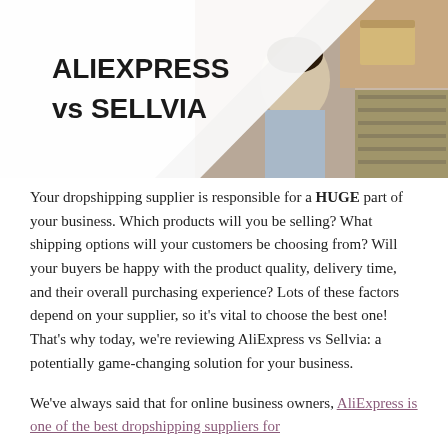[Figure (illustration): Header banner image showing 'ALIEXPRESS vs SELLVIA' text on the left with a white geometric overlay, and photos of a woman in a warehouse/shopping area and hands holding boxes on the right side.]
Your dropshipping supplier is responsible for a HUGE part of your business. Which products will you be selling? What shipping options will your customers be choosing from? Will your buyers be happy with the product quality, delivery time, and their overall purchasing experience? Lots of these factors depend on your supplier, so it's vital to choose the best one! That's why today, we're reviewing AliExpress vs Sellvia: a potentially game-changing solution for your business.
We've always said that for online business owners, AliExpress is one of the best dropshipping suppliers for